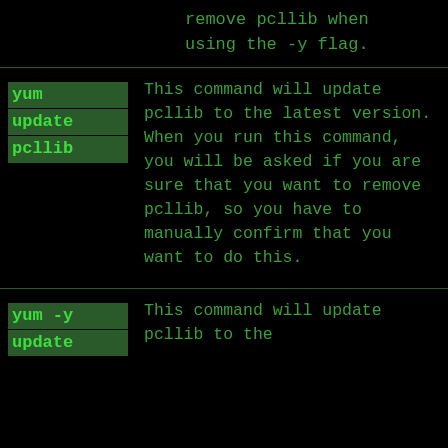remove pcllib when using the -y flag.
yum update pcllib — This command will update pcllib to the latest version. When you run this command, you will be asked if you are sure that you want to remove pcllib, so you have to manually confirm that you want to do this.
yum -y update — This command will update pcllib to the